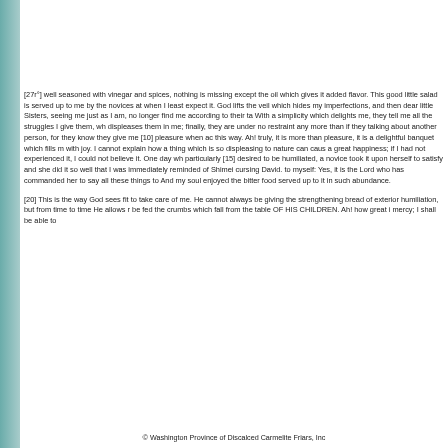[27r°] well seasoned with vinegar and spices, nothing is missing except the oil which gives it added flavor. This good little salad is served up to me by the novices at when I least expect it. God lifts the veil which hides my imperfections, and then dear little Sisters, seeing me just as I am, no longer find me according to their ta With a simplicity which delights me, they tell me all the struggles I give them, wh displeases them in me; finally, they are under no restraint any more than if they talking about another person, for they know they give me [10] pleasure when ac this way. Ah! truly, it is more than pleasure, it is a delightful banquet which fills m with joy. I cannot explain how a thing which is so displeasing to nature can caus a great happiness; if I had not experienced it, I could not believe it. One day wh particularly [15] desired to be humiliated, a novice took it upon herself to satisfy and she did it so well that I was immediately reminded of Shimei cursing David. to myself: Yes, it is the Lord who has commanded her to say all these things to And my soul enjoyed the bitter food served up to it in such abundance.
[20] This is the way God sees fit to take care of me. He cannot always be giving the strengthening bread of exterior humiliation, but from time to time He allows r be fed the crumbs which fall from the table OF HIS CHILDREN. Ah! how great i mercy; I shall be able to
© Washington Province of Discalced Carmelite Friars, Inc